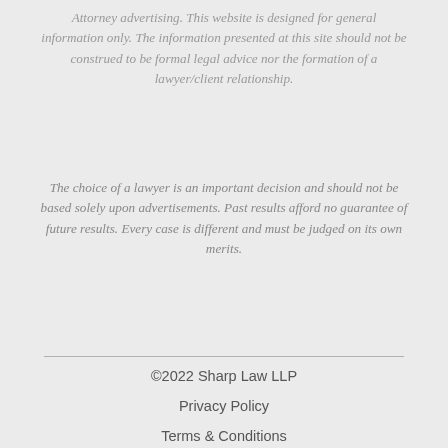Attorney advertising. This website is designed for general information only. The information presented at this site should not be construed to be formal legal advice nor the formation of a lawyer/client relationship.
The choice of a lawyer is an important decision and should not be based solely upon advertisements. Past results afford no guarantee of future results. Every case is different and must be judged on its own merits.
©2022 Sharp Law LLP
Privacy Policy
Terms & Conditions